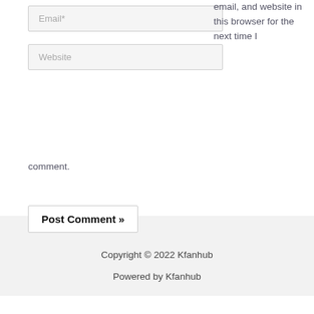email, and website in this browser for the next time I comment.
Email*
Website
Post Comment »
Copyright © 2022 Kfanhub
Powered by Kfanhub